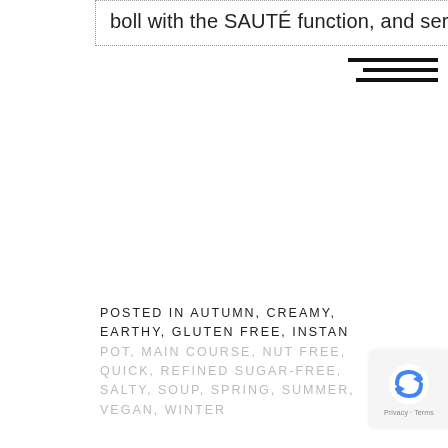boll with the SAUTÉ function, and serve.
POSTED IN AUTUMN, CREAMY, EARTHY, GLUTEN FREE, INSTANT POT, MAIN COURSE, NUT FREE, QUICK, REFINED SUGAR-FREE, SALTY, SOUP, SPRING, SUMMER, VEGAN, WINTER